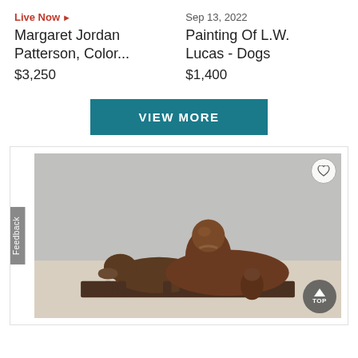Live Now ▶
Sep 13, 2022
Margaret Jordan Patterson, Color...
Painting Of L.W. Lucas - Dogs
$3,250
$1,400
VIEW MORE
[Figure (photo): Bronze sculpture of a reclining woman with a dog and a jug, displayed on a dark base against a light gray background. A heart/favorite icon appears in the upper right of the card, and a 'TOP' scroll button appears in the lower right. A 'Feedback' tab is on the left edge.]